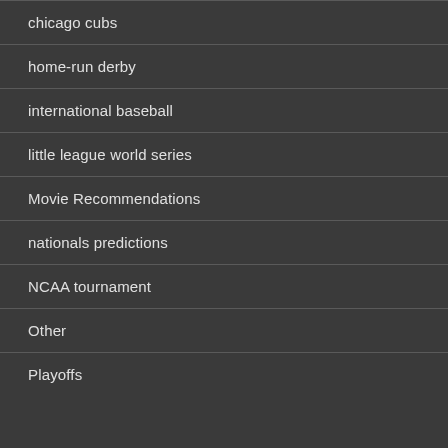chicago cubs
home-run derby
international baseball
little league world series
Movie Recommendations
nationals predictions
NCAA tournament
Other
Playoffs